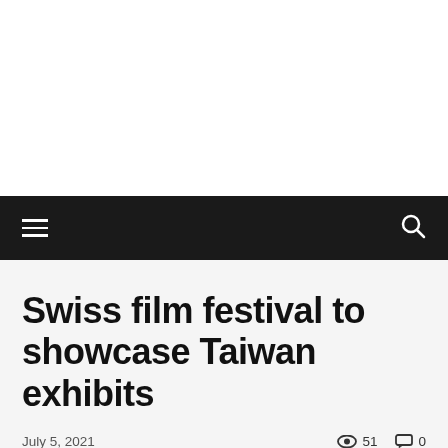Navigation bar with hamburger menu and search icon
Swiss film festival to showcase Taiwan exhibits
July 5, 2021   👁 51   🗨 0